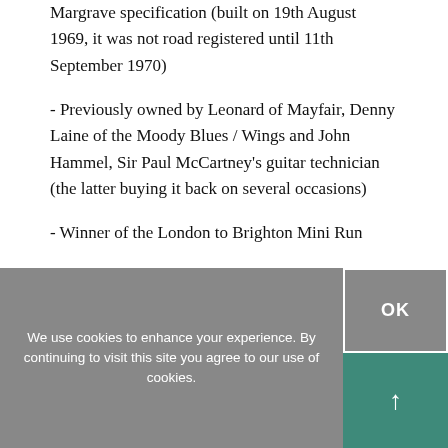Margrave specification (built on 19th August 1969, it was not road registered until 11th September 1970)
- Previously owned by Leonard of Mayfair, Denny Laine of the Moody Blues / Wings and John Hammel, Sir Paul McCartney's guitar technician (the latter buying it back on several occasions)
- Winner of the London to Brighton Mini Run
We use cookies to enhance your experience. By continuing to visit this site you agree to our use of cookies.